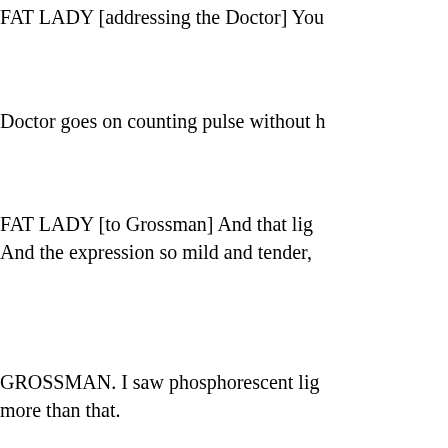FAT LADY [addressing the Doctor] You
Doctor goes on counting pulse without h
FAT LADY [to Grossman] And that lig... And the expression so mild and tender,
GROSSMAN. I saw phosphorescent lig... more than that.
FAT LADY. Don't tell me! You don't... school do not believe in a life beyond... disbelieve in a future life—no one in the
er.
you may... nd now.... lid you fe
SIMON [laughs] Yes, ma'm, just so.